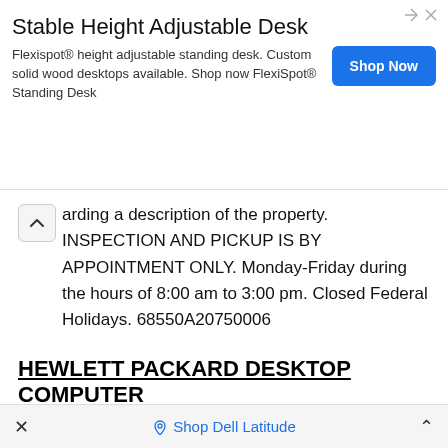[Figure (screenshot): Advertisement banner for Stable Height Adjustable Desk by Flexispot with Shop Now button]
arding a description of the property. INSPECTION AND PICKUP IS BY APPOINTMENT ONLY. Monday-Friday during the hours of 8:00 am to 3:00 pm. Closed Federal Holidays. 68550A20750006
HEWLETT PACKARD DESKTOP COMPUTER
04/15/2022 07:23 PM EDT
CURRENT BID: $10   STATE: OH   NO. OF BIDDERS: 0   CLOSE TIME: 04-22-2022 05:23 PM CT.
× Shop Dell Latitude ^